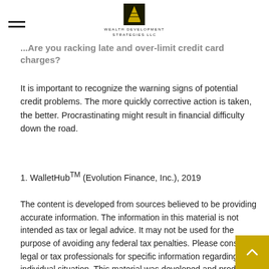Wealth Development Strategies LLC
...Are you racking late and over-limit credit card charges?
It is important to recognize the warning signs of potential credit problems. The more quickly corrective action is taken, the better. Procrastinating might result in financial difficulty down the road.
1. WalletHub™ (Evolution Finance, Inc.), 2019
The content is developed from sources believed to be providing accurate information. The information in this material is not intended as tax or legal advice. It may not be used for the purpose of avoiding any federal tax penalties. Please consult legal or tax professionals for specific information regarding your individual situation. This material was developed and produced by FMG Suite to provide information on a topic that may be of interest. FMG Suite is not affiliated with the named broker-dealer, state- or SEC-registered investment advisory firm. The opinions